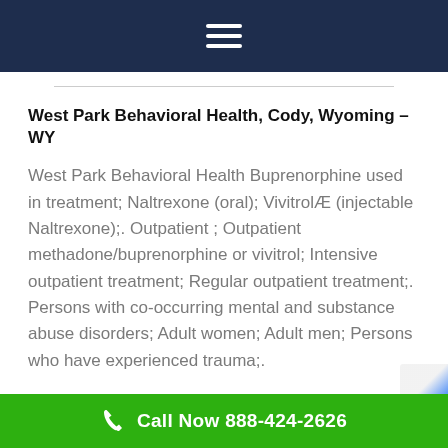West Park Behavioral Health, Cody, Wyoming – WY
West Park Behavioral Health Buprenorphine used in treatment; Naltrexone (oral); VivitrolÆ (injectable Naltrexone);. Outpatient ; Outpatient methadone/buprenorphine or vivitrol; Intensive outpatient treatment; Regular outpatient treatment;. Persons with co-occurring mental and substance abuse disorders; Adult women; Adult men; Persons who have experienced trauma;.
Call Now 888-424-2626